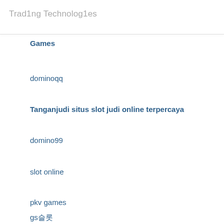Trad1ng Technolog1es
Games
dominoqq
Tanganjudi situs slot judi online terpercaya
domino99
slot online
pkv games
gs슬롯